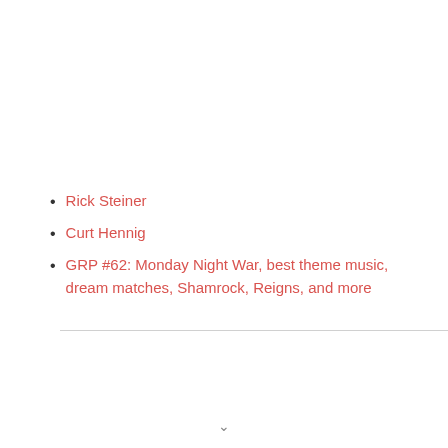Rick Steiner
Curt Hennig
GRP #62: Monday Night War, best theme music, dream matches, Shamrock, Reigns, and more